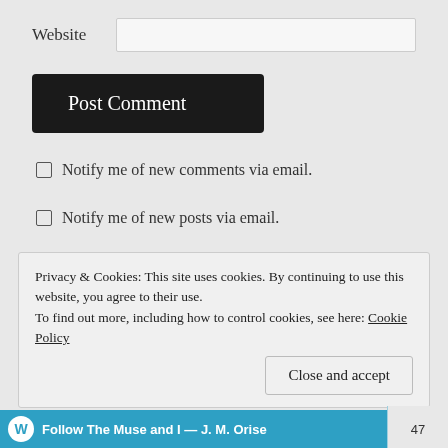Website
Post Comment
Notify me of new comments via email.
Notify me of new posts via email.
BLOG STATS
Privacy & Cookies: This site uses cookies. By continuing to use this website, you agree to their use.
To find out more, including how to control cookies, see here: Cookie Policy
Close and accept
Follow The Muse and I — J. M. Orise  47